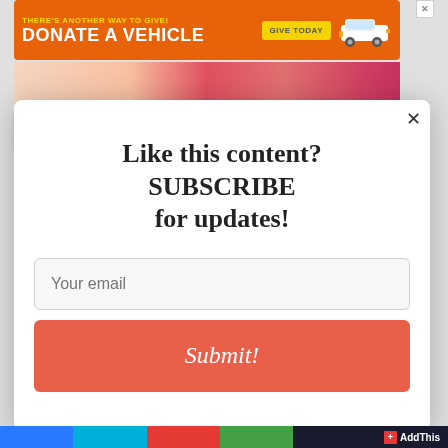[Figure (screenshot): Orange banner advertisement: 'THERE'S ANOTHER WAY TO GIVE! DONATE A VEHICLE GIVE TODAY' with a car image]
[Figure (photo): Partial image strip showing colorful illustration figures partially visible behind modal]
Like this content? SUBSCRIBE for updates!
Your email
Submit!
AddThis